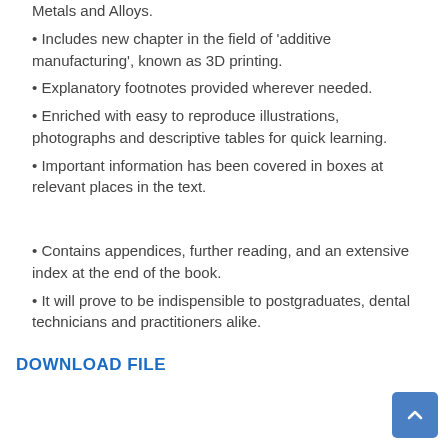Metals and Alloys.
Includes new chapter in the field of ‘additive manufacturing’, known as 3D printing.
Explanatory footnotes provided wherever needed.
Enriched with easy to reproduce illustrations, photographs and descriptive tables for quick learning.
Important information has been covered in boxes at relevant places in the text.
Contains appendices, further reading, and an extensive index at the end of the book.
It will prove to be indispensible to postgraduates, dental technicians and practitioners alike.
DOWNLOAD FILE